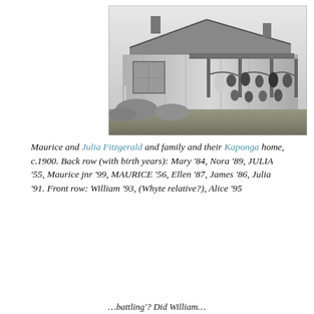[Figure (photo): Black and white historical photograph of a house with a verandah. A group of people are seated and standing on the front porch of a wooden house with a pitched roof, circa 1900. Garden in the foreground.]
Maurice and Julia Fitzgerald and family and their Kaponga home, c.1900. Back row (with birth years): Mary '84, Nora '89, JULIA '55, Maurice jnr '99, MAURICE '56, Ellen '87, James '86, Julia '91. Front row: William '93, (Whyte relative?), Alice '95
...battling'? Did William...